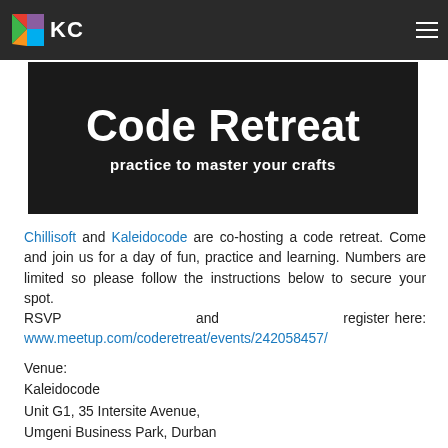KC
[Figure (illustration): Code Retreat banner image with dark background, large white bold text reading 'Code Retreat' and subtitle 'practice to master your crafts']
Chillisoft and Kaleidocode are co-hosting a code retreat. Come and join us for a day of fun, practice and learning. Numbers are limited so please follow the instructions below to secure your spot. RSVP and register here: www.meetup.com/coderetreat/events/242058457/
Venue:
Kaleidocode
Unit G1, 35 Intersite Avenue,
Umgeni Business Park, Durban